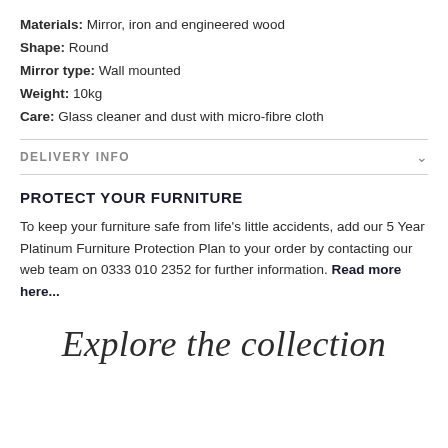Materials: Mirror, iron and engineered wood
Shape: Round
Mirror type: Wall mounted
Weight: 10kg
Care: Glass cleaner and dust with micro-fibre cloth
DELIVERY INFO
PROTECT YOUR FURNITURE
To keep your furniture safe from life's little accidents, add our 5 Year Platinum Furniture Protection Plan to your order by contacting our web team on 0333 010 2352 for further information. Read more here...
Explore the collection